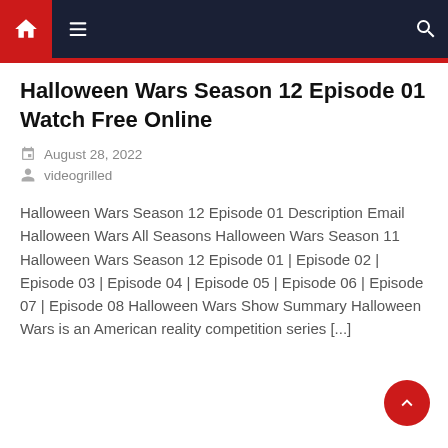Navigation bar with home, menu, and search icons
Halloween Wars Season 12 Episode 01 Watch Free Online
August 28, 2022
videogrilled
Halloween Wars Season 12 Episode 01 Description Email Halloween Wars All Seasons Halloween Wars Season 11 Halloween Wars Season 12 Episode 01 | Episode 02 | Episode 03 | Episode 04 | Episode 05 | Episode 06 | Episode 07 | Episode 08 Halloween Wars Show Summary Halloween Wars is an American reality competition series [...]